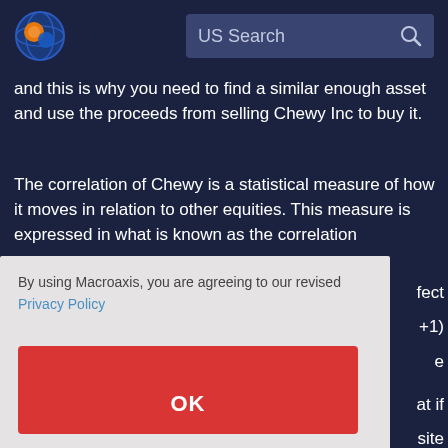[Figure (logo): Macroaxis logo - globe-like icon with orange and blue colors]
US Search
and this is why you need to find a similar enough asset and use the proceeds from selling Chewy Inc to buy it.
The correlation of Chewy is a statistical measure of how it moves in relation to other equities. This measure is expressed in what is known as the correlation
fect
+1)
e
By using Macroaxis, you are agreeing to our revised Privacy Policy
OK
at if
site
correlated; they are entirely random. A correlation